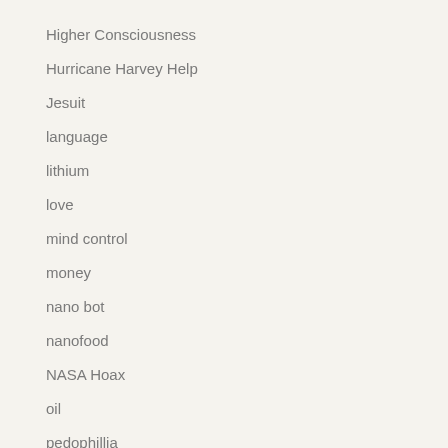Higher Consciousness
Hurricane Harvey Help
Jesuit
language
lithium
love
mind control
money
nano bot
nanofood
NASA Hoax
oil
pedophillia
Police brutality